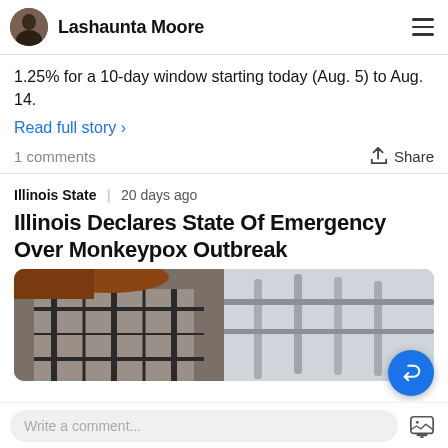Lashaunta Moore
1.25% for a 10-day window starting today (Aug. 5) to Aug. 14.
Read full story >
1 comments
Share
Illinois State  |  20 days ago
Illinois Declares State Of Emergency Over Monkeypox Outbreak
[Figure (photo): Person wearing a black and white plaid jacket, partial view, blurred background]
Write a comment...